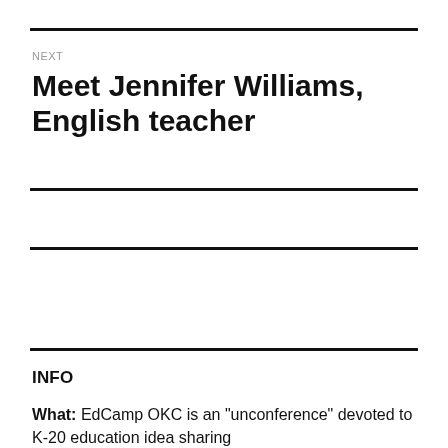NEXT
Meet Jennifer Williams, English teacher
INFO
What: EdCamp OKC is an "unconference" devoted to K-20 education idea sharing